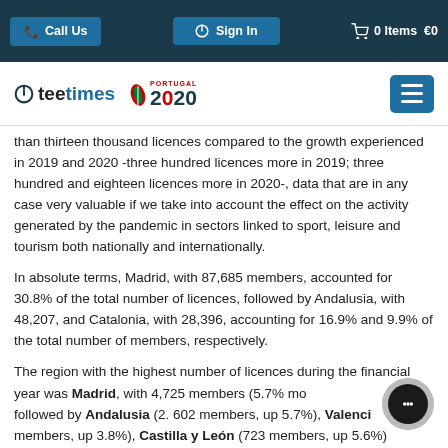Call Us | Sign In | 0 Items €0
teetimes | PORTUGAL 2020
than thirteen thousand licences compared to the growth experienced in 2019 and 2020 -three hundred licences more in 2019; three hundred and eighteen licences more in 2020-, data that are in any case very valuable if we take into account the effect on the activity generated by the pandemic in sectors linked to sport, leisure and tourism both nationally and internationally.
In absolute terms, Madrid, with 87,685 members, accounted for 30.8% of the total number of licences, followed by Andalusia, with 48,207, and Catalonia, with 28,396, accounting for 16.9% and 9.9% of the total number of members, respectively.
The region with the highest number of licences during the financial year was Madrid, with 4,725 members (5.7% more), followed by Andalusia (2. 602 members, up 5.7%), Valencia (…33 members, up 3.8%), Castilla y León (723 members, up 5.6%)